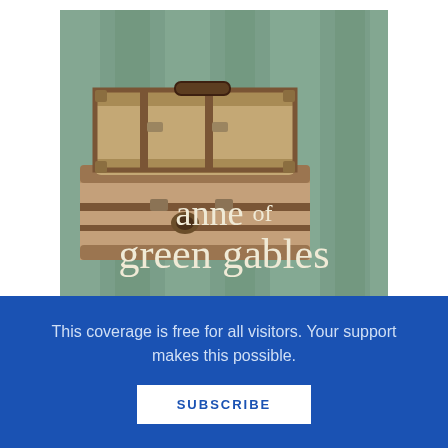[Figure (illustration): Book cover of 'Anne of Green Gables' featuring two vintage stacked suitcases/trunks on a muted green striped background. The title text reads 'anne of green gables' in large cream/off-white serif font in the lower portion of the cover.]
This coverage is free for all visitors. Your support makes this possible.
SUBSCRIBE